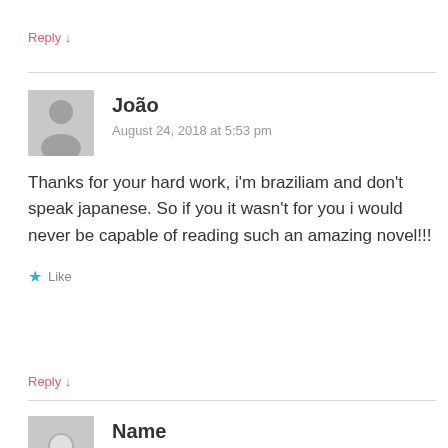Reply ↓
João
August 24, 2018 at 5:53 pm
Thanks for your hard work, i'm braziliam and don't speak japanese. So if you it wasn't for you i would never be capable of reading such an amazing novel!!!
Like
Reply ↓
Name